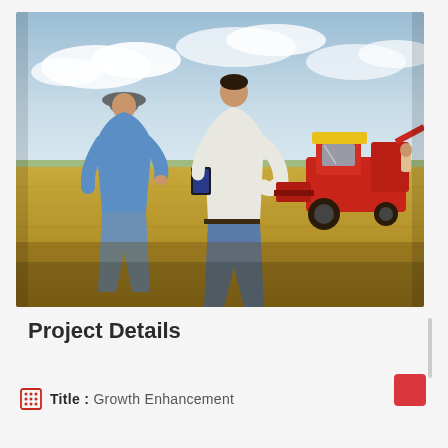[Figure (photo): Two men standing in a wheat field viewing a red combine harvester in the distance. The man on the left wears a blue shirt and hat; the man on the right wears a white shirt and holds a tablet. Golden wheat stretches across the field under a partly cloudy sky.]
Project Details
Title :  Growth Enhancement